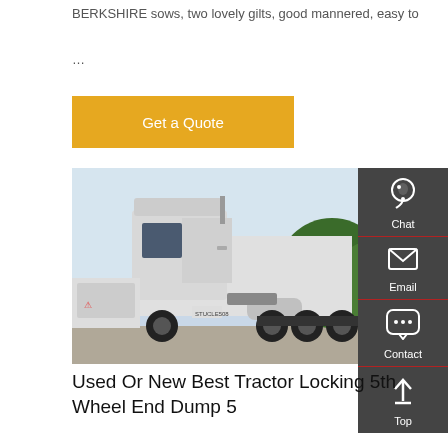BERKSHIRE sows, two lovely gilts, good mannered, easy to
...
Get a Quote
[Figure (photo): Side view of a white semi-truck tractor unit parked in a lot, with trees and other vehicles in the background.]
Chat
Email
Contact
Top
Used Or New Best Tractor Locking 5th Wheel End Dump 5